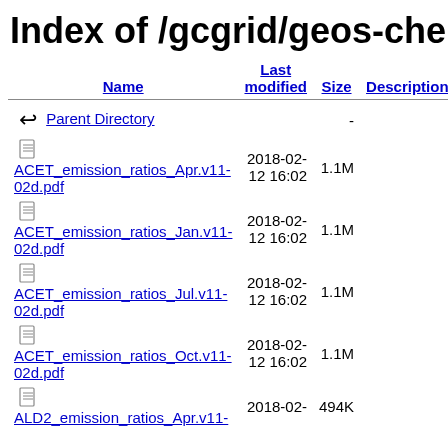Index of /gcgrid/geos-chem/1yr_benchmarks/v11-02/v11-02d/Run2/output/Emission_Rati
| Name | Last modified | Size | Description |
| --- | --- | --- | --- |
| Parent Directory |  | - |  |
| ACET_emission_ratios_Apr.v11-02d.pdf | 2018-02-12 16:02 | 1.1M |  |
| ACET_emission_ratios_Jan.v11-02d.pdf | 2018-02-12 16:02 | 1.1M |  |
| ACET_emission_ratios_Jul.v11-02d.pdf | 2018-02-12 16:02 | 1.1M |  |
| ACET_emission_ratios_Oct.v11-02d.pdf | 2018-02-12 16:02 | 1.1M |  |
| ALD2_emission_ratios_Apr.v11- | 2018-02- | 494K |  |